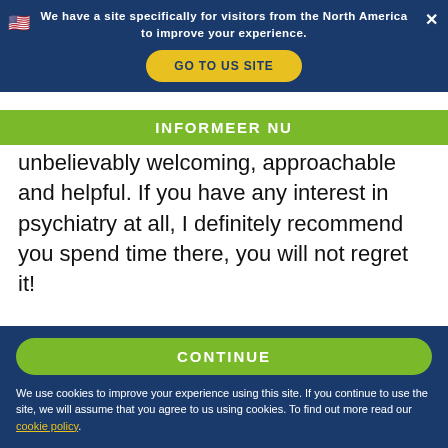We have a site specifically for visitors from the North America to improve your experience.
GO TO US SITE
INFORMEER NU
unbelievably welcoming, approachable and helpful. If you have any interest in psychiatry at all, I definitely recommend you spend time there, you will not regret it!
[Figure (photo): Cloudy sky photograph with grey and white clouds]
CONTINUE
We use cookies to improve your experience using this site. If you continue to use the site, we will assume that you agree to us using cookies. To find out more read our cookie policy.